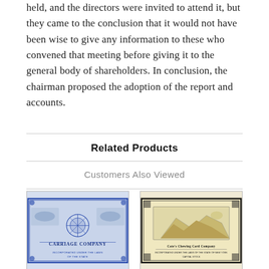held, and the directors were invited to attend it, but they came to the conclusion that it would not have been wise to give any information to these who convened that meeting before giving it to the general body of shareholders. In conclusion, the chairman proposed the adoption of the report and accounts.
Related Products
Customers Also Viewed
[Figure (photo): Antique stock certificate with blue decorative border, ornate engravings, and text reading 'CARRIAGE COMPANY']
[Figure (photo): Antique stock certificate with dark border on cream/yellow paper with decorative engravings and text at bottom]